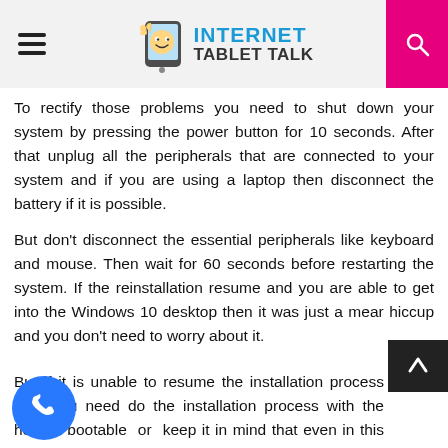INTERNET TABLET TALK
To rectify those problems you need to shut down your system by pressing the power button for 10 seconds. After that unplug all the peripherals that are connected to your system and if you are using a laptop then disconnect the battery if it is possible.
But don't disconnect the essential peripherals like keyboard and mouse. Then wait for 60 seconds before restarting the system. If the reinstallation resume and you are able to get into the Windows 10 desktop then it was just a mear hiccup and you don't need to worry about it.
But if it is unable to resume the installation process then you need do the installation process with the help of bootable or keep it in mind that even in this situation you need to keep peripherals disconnected.